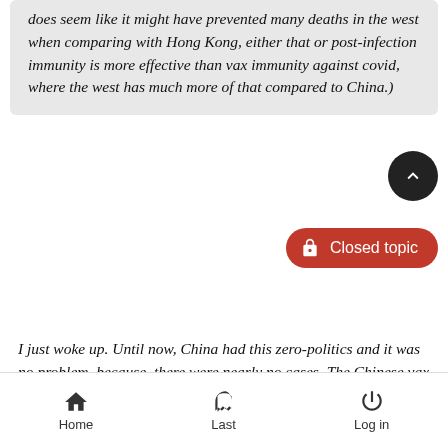does seem like it might have prevented many deaths in the west when comparing with Hong Kong, either that or post-infection immunity is more effective than vax immunity against covid, where the west has much more of that compared to China.)
I just woke up. Until now, China had this zero-politics and it was no problem, because, there were nearly no cases. The Chinese vax is a traditional flu-vax. Now something changed. The cases in Shanghai and Jilin province (Changchun and Jilin city) exploded. Maybe it is the Omicron-variant or there was a mismanagement in the provincial or municipial administration in Changchun and Jilin (there are hints to both possibilities). Beijing saw that Changchun and Jilin are unable to handle th their own people and pushed the local people reorganized the whole reporting system. For some days
Home  Last  Log in